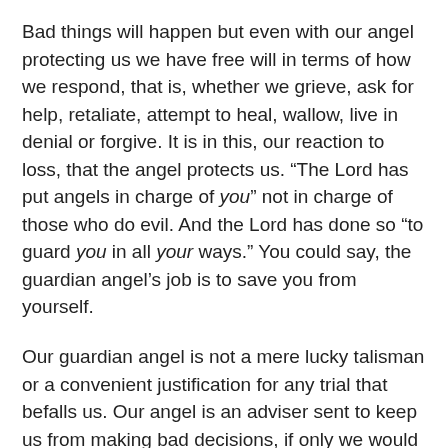Bad things will happen but even with our angel protecting us we have free will in terms of how we respond, that is, whether we grieve, ask for help, retaliate, attempt to heal, wallow, live in denial or forgive. It is in this, our reaction to loss, that the angel protects us. “The Lord has put angels in charge of you” not in charge of those who do evil. And the Lord has done so “to guard you in all your ways.” You could say, the guardian angel’s job is to save you from yourself.
Our guardian angel is not a mere lucky talisman or a convenient justification for any trial that befalls us. Our angel is an adviser sent to keep us from making bad decisions, if only we would listen! In a homily from 2014 on this feast day, Pope Francis nailed human nature saying: “when we don’t want to listen to his advice, to hear his